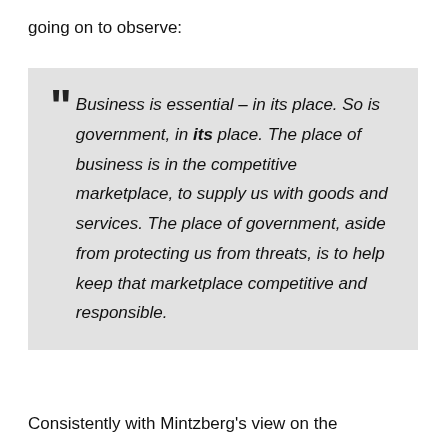going on to observe:
Business is essential – in its place. So is government, in its place. The place of business is in the competitive marketplace, to supply us with goods and services. The place of government, aside from protecting us from threats, is to help keep that marketplace competitive and responsible.
Consistently with Mintzberg's view on the